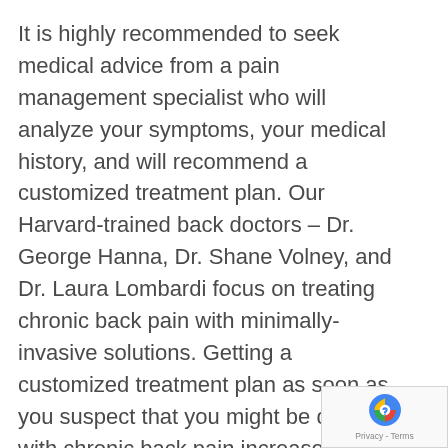It is highly recommended to seek medical advice from a pain management specialist who will analyze your symptoms, your medical history, and will recommend a customized treatment plan. Our Harvard-trained back doctors – Dr. George Hanna, Dr. Shane Volney, and Dr. Laura Lombardi focus on treating chronic back pain with minimally-invasive solutions. Getting a customized treatment plan as soon as you suspect that you might be dealing with chronic back pain increases your chances of avoiding back surgery.
Finding the right back doctor isn't an easy task, especially when you are in pain. Our board-certified back doctors can help you navigate this process and will answer all of your